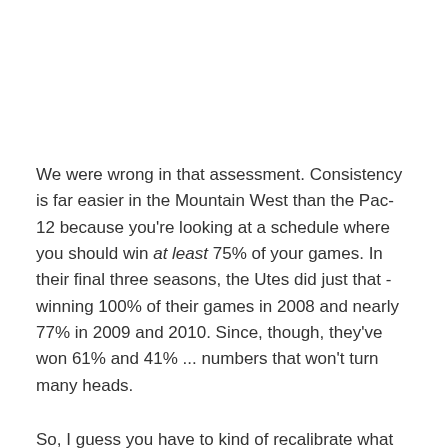We were wrong in that assessment. Consistency is far easier in the Mountain West than the Pac-12 because you're looking at a schedule where you should win at least 75% of your games. In their final three seasons, the Utes did just that - winning 100% of their games in 2008 and nearly 77% in 2009 and 2010. Since, though, they've won 61% and 41% ... numbers that won't turn many heads.
So, I guess you have to kind of recalibrate what consistency means at this level. It's not just about